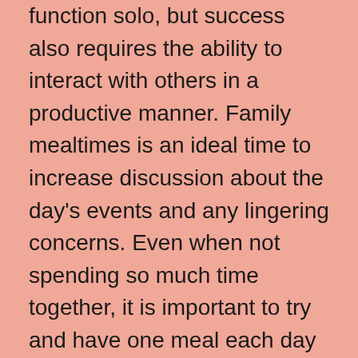function solo, but success also requires the ability to interact with others in a productive manner. Family mealtimes is an ideal time to increase discussion about the day's events and any lingering concerns. Even when not spending so much time together, it is important to try and have one meal each day together. Sometimes this may require getting up a bit earlier, making breakfast for everyone so this can occur with all family members sitting around a table or in the same room eating and talking with no distractions.

When the pandemic is over, it will be important